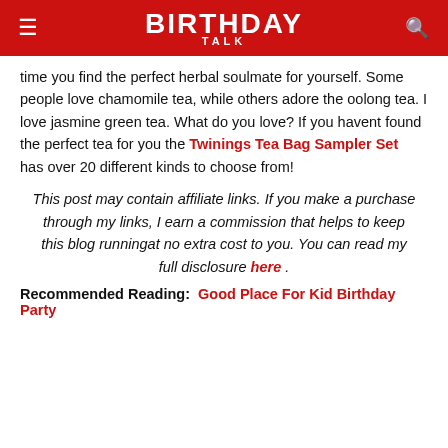BIRTHDAY TALK
time you find the perfect herbal soulmate for yourself. Some people love chamomile tea, while others adore the oolong tea. I love jasmine green tea. What do you love? If you havent found the perfect tea for you the Twinings Tea Bag Sampler Set has over 20 different kinds to choose from!
This post may contain affiliate links. If you make a purchase through my links, I earn a commission that helps to keep this blog runningat no extra cost to you. You can read my full disclosure here .
Recommended Reading: Good Place For Kid Birthday Party